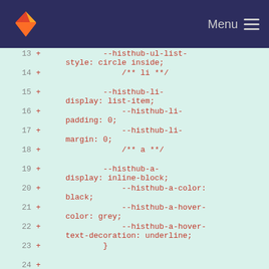GitLab Menu
13 + --histhub-ul-list-style: circle inside;
14 + /** li **/
15 + --histhub-li-display: list-item;
16 + --histhub-li-padding: 0;
17 + --histhub-li-margin: 0;
18 + /** a **/
19 + --histhub-a-display: inline-block;
20 + --histhub-a-color: black;
21 + --histhub-a-hover-color: grey;
22 + --histhub-a-hover-text-decoration: underline;
23 + }
24 +